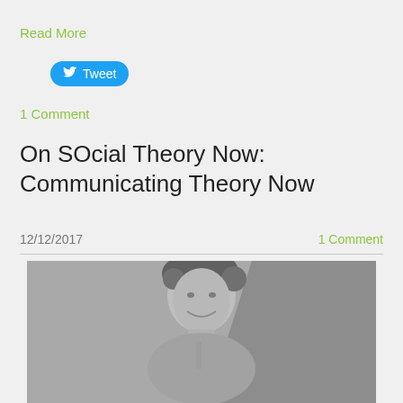Read More
[Figure (screenshot): Twitter Tweet button with bird icon]
1 Comment
On SOcial Theory Now: Communicating Theory Now
12/12/2017
1 Comment
[Figure (photo): Black and white photo of a man with curly hair smiling, speaking at a microphone]